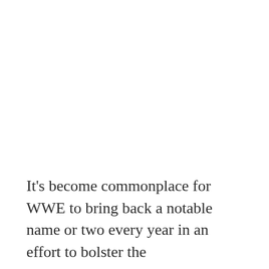It's become commonplace for WWE to bring back a notable name or two every year in an effort to bolster the